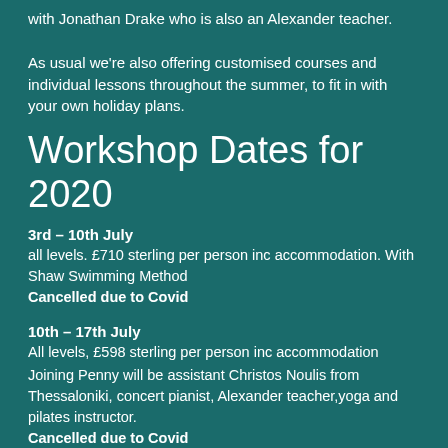The first workshop included Shaw Method Swimming with Jonathan Drake who is also an Alexander teacher.
As usual we're also offering customised courses and individual lessons throughout the summer, to fit in with your own holiday plans.
Workshop Dates for 2020
3rd – 10th July
all levels. £710 sterling per person inc accommodation. With Shaw Swimming Method
Cancelled due to Covid
10th – 17th July
All levels, £598 sterling per person inc accommodation
Joining Penny will be assistant Christos Noulis from Thessaloniki, concert pianist, Alexander teacher,yoga and pilates instructor.
Cancelled due to Covid
It is also possible to make this a two-week adventure, combining both July workshops 3rd -17th for discounted price of £1200 inc